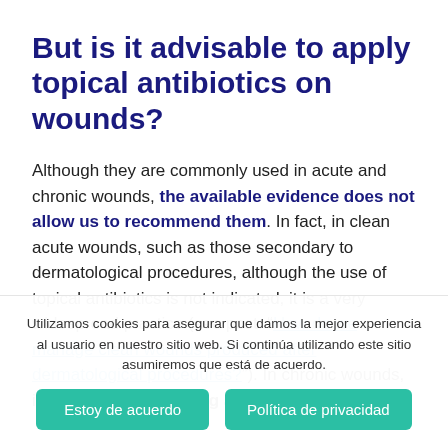But is it advisable to apply topical antibiotics on wounds?
Although they are commonly used in acute and chronic wounds, the available evidence does not allow us to recommend them. In fact, in clean acute wounds, such as those secondary to dermatological procedures, although the use of topical antibiotics is not indicated, it is a very widespread practice (see post: “How do we manage clean wounds produced after dermatological procedures?”). In chronic wounds, in addition to not having a clear effect on
Utilizamos cookies para asegurar que damos la mejor experiencia al usuario en nuestro sitio web. Si continúa utilizando este sitio asumiremos que está de acuerdo.